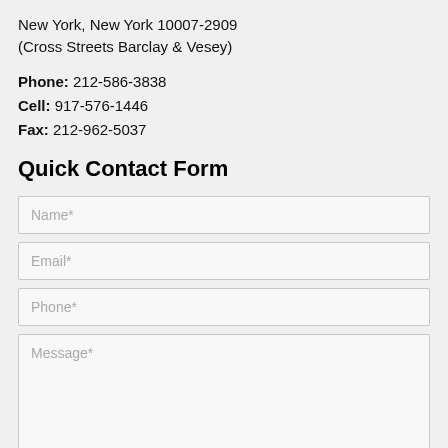New York, New York 10007-2909
(Cross Streets Barclay & Vesey)
Phone: 212-586-3838
Cell: 917-576-1446
Fax: 212-962-5037
Quick Contact Form
Name*
Email*
Phone*
Message*